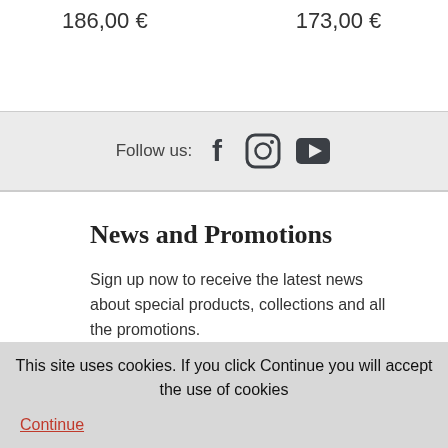186,00 €
173,00 €
Follow us:
[Figure (other): Social media icons: Facebook, Instagram, YouTube]
News and Promotions
Sign up now to receive the latest news about special products, collections and all the promotions.
This site uses cookies. If you click Continue you will accept the use of cookies
Continue